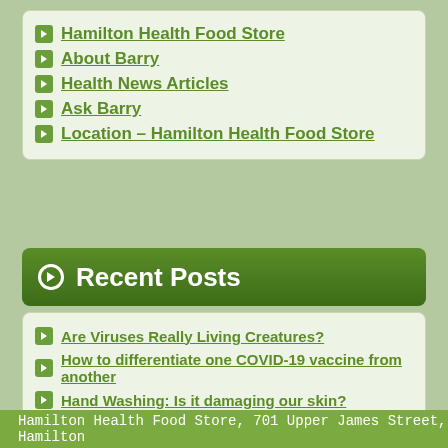Hamilton Health Food Store
About Barry
Health News Articles
Ask Barry
Location – Hamilton Health Food Store
Recent Posts
Are Viruses Really Living Creatures?
How to differentiate one COVID-19 vaccine from another
Hand Washing: Is it damaging our skin?
Covid Stress= Stress Eating
What really controls our planet?
Hamilton Health Food Store, 701 Upper James Street, Hamilton